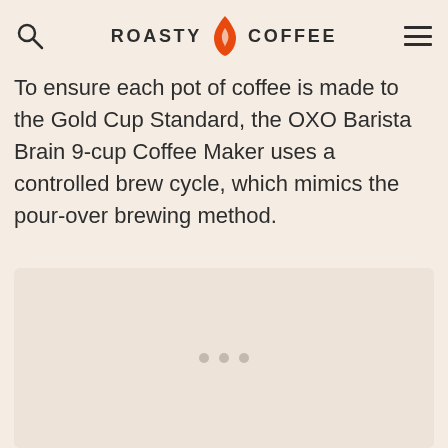ROASTY COFFEE
To ensure each pot of coffee is made to the Gold Cup Standard, the OXO Barista Brain 9-cup Coffee Maker uses a controlled brew cycle, which mimics the pour-over brewing method.
[Figure (photo): Image placeholder area with loading indicator dots, light beige background]